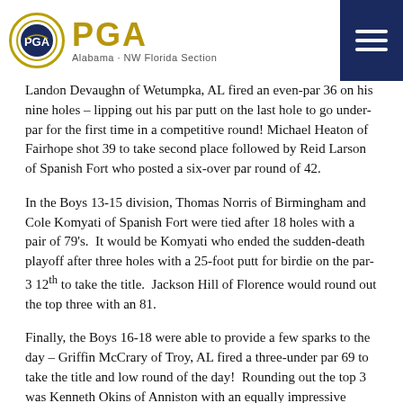PGA Alabama · NW Florida Section
Landon Devaughn of Wetumpka, AL fired an even-par 36 on his nine holes – lipping out his par putt on the last hole to go under-par for the first time in a competitive round! Michael Heaton of Fairhope shot 39 to take second place followed by Reid Larson of Spanish Fort who posted a six-over par round of 42.
In the Boys 13-15 division, Thomas Norris of Birmingham and Cole Komyati of Spanish Fort were tied after 18 holes with a pair of 79's. It would be Komyati who ended the sudden-death playoff after three holes with a 25-foot putt for birdie on the par-3 12th to take the title. Jackson Hill of Florence would round out the top three with an 81.
Finally, the Boys 16-18 were able to provide a few sparks to the day – Griffin McCrary of Troy, AL fired a three-under par 69 to take the title and low round of the day! Rounding out the top 3 was Kenneth Okins of Anniston with an equally impressive even-par 72, and Ronan Brackin from Geneva